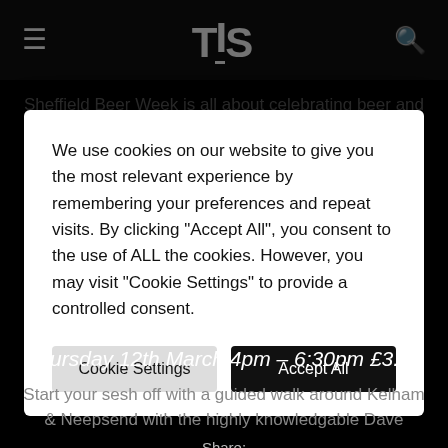TIS
Sheffield Beer Week is all about celebrating beer and our pubs with special events
We use cookies on our website to give you the most relevant experience by remembering your preferences and repeat visits. By clicking "Accept All", you consent to the use of ALL the cookies. However, you may visit "Cookie Settings" to provide a controlled consent.
Cookie Settings | Accept All
Pub and Industrial Heritage Walk
Thursday 12th March 4pm – 6:30pm £3.50
Start your sesh off with a guided walk around Kelham & Neepsend with the highly knowledgable Dave
Share: